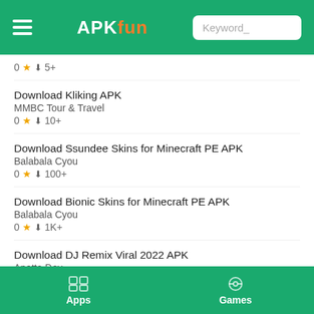APKfun — Keyword_
0 ★ ↓ 5+
Download Kliking APK
MMBC Tour & Travel
0 ★ ↓ 10+
Download Ssundee Skins for Minecraft PE APK
Balabala Cyou
0 ★ ↓ 100+
Download Bionic Skins for Minecraft PE APK
Balabala Cyou
0 ★ ↓ 1K+
Download DJ Remix Viral 2022 APK
Anetta Dev
0 ★ ↓ 10K+
Apps   Games